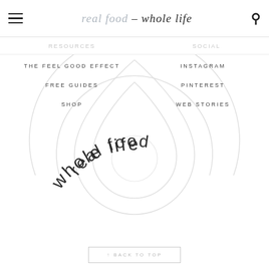real food – whole life
resources | social
THE FEEL GOOD EFFECT
FREE GUIDES
SHOP
INSTAGRAM
PINTEREST
WEB STORIES
[Figure (logo): Circular decorative watermark logo with concentric drop/teardrop outlines and the text 'real food whole life' arranged in an arc around the center]
↑ BACK TO TOP